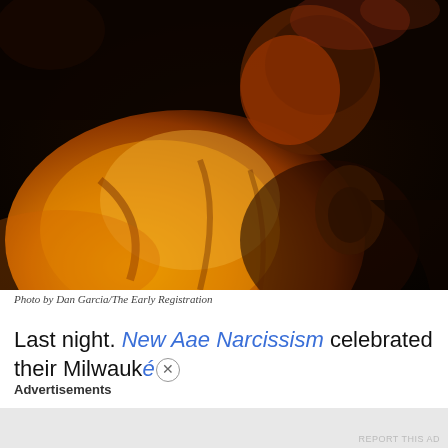[Figure (photo): Concert photo of a performer lit by warm orange-red stage lighting, wearing a yellow/orange jacket, head tilted back. Dark background. Close-up shot showing torso and partial face from a low angle.]
Photo by Dan Garcia/The Early Registration
Last night. New Aae Narcissism celebrated their Milwauké
Advertisements